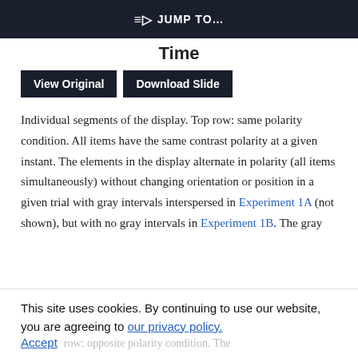JUMP TO…
Time
[Figure (other): Two buttons: 'View Original' and 'Download Slide']
Individual segments of the display. Top row: same polarity condition. All items have the same contrast polarity at a given instant. The elements in the display alternate in polarity (all items simultaneously) without changing orientation or position in a given trial with gray intervals interspersed in Experiment 1A (not shown), but with no gray intervals in Experiment 1B. The gray
This site uses cookies. By continuing to use our website, you are agreeing to our privacy policy. Accept
Bottom row: opposite polarity condition. The